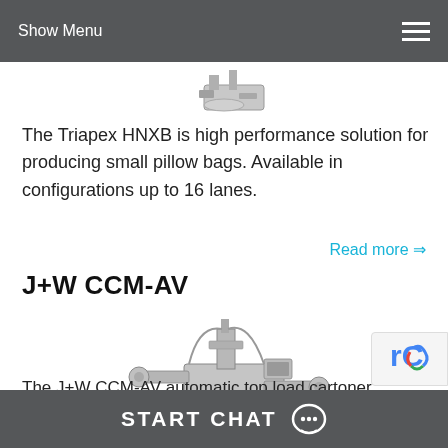Show Menu
The Triapex HNXB is high performance solution for producing small pillow bags. Available in configurations up to 16 lanes.
Read more ⇒
J+W CCM-AV
[Figure (photo): Photo of the J+W CCM-AV automatic top load cartoner machine, a complex industrial packaging machine in silver/steel finish]
The J+W CCM-AV automatic top load cartoner offers compact, efficient cartoning for bags, bottles, bulk items, and other pro
START CHAT